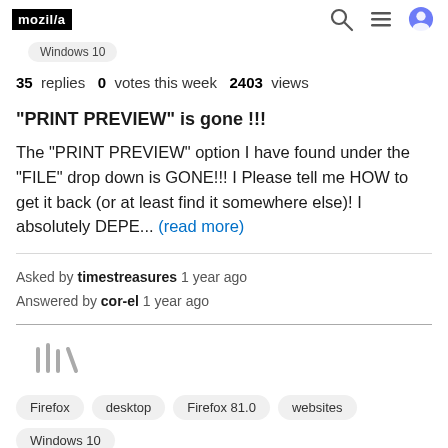mozilla // (logo) + search, menu, avatar icons
Windows 10
35  replies   0  votes this week   2403  views
"PRINT PREVIEW" is gone !!!
The "PRINT PREVIEW" option I have found under the "FILE" drop down is GONE!!! I Please tell me HOW to get it back (or at least find it somewhere else)! I absolutely DEPE... (read more)
Asked by timestreasures 1 year ago
Answered by cor-el 1 year ago
[Figure (logo): SUMO/Mozilla support library icon]
Firefox  desktop  Firefox 81.0  websites
Windows 10